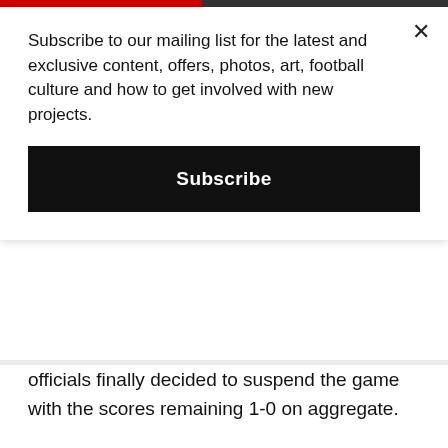Subscribe to our mailing list for the latest and exclusive content, offers, photos, art, football culture and how to get involved with new projects.
Subscribe
officials finally decided to suspend the game with the scores remaining 1-0 on aggregate.
The Boca fans did make the most of the opportunity, however, flying a drone that carried a sign that read “B” to remind their counterparts about their time spent in the second division. River did eventually get the last laugh, though, as the CONMEBOL ruled that the game would end 0-0 and that River Plate would qualify for the last eight